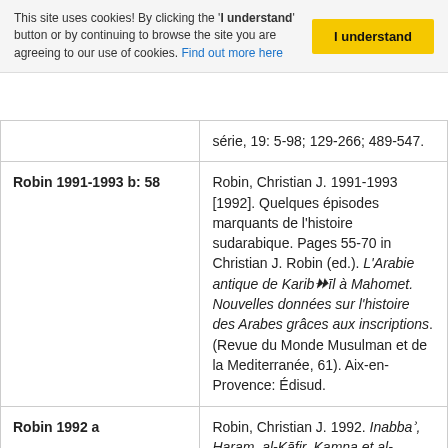This site uses cookies! By clicking the 'I understand' button or by continuing to browse the site you are agreeing to our use of cookies. Find out more here
| Reference Key | Full Citation |
| --- | --- |
|  | série, 19: 5-98; 129-266; 489-547. |
| Robin 1991-1993 b: 58 | Robin, Christian J. 1991-1993 [1992]. Quelques épisodes marquants de l'histoire sudarabique. Pages 55-70 in Christian J. Robin (ed.). L'Arabie antique de Karibʾīl à Mahomet. Nouvelles données sur l'histoire des Arabes grâces aux inscriptions. (Revue du Monde Musulman et de la Mediterranée, 61). Aix-en-Provence: Édisud. |
| Robin 1992 a | Robin, Christian J. 1992. Inabbaʾ, Haram, al-Kāfir, Kamna et al-Harāshif. Fasc... |